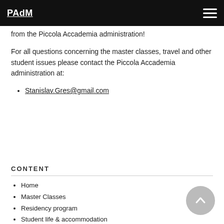PAdM
from the Piccola Accademia administration!
For all questions concerning the master classes, travel and other student issues please contact the Piccola Accademia administration at:
Stanislav.Gres@gmail.com
CONTENT
Home
Master Classes
Residency program
Student life & accommodation